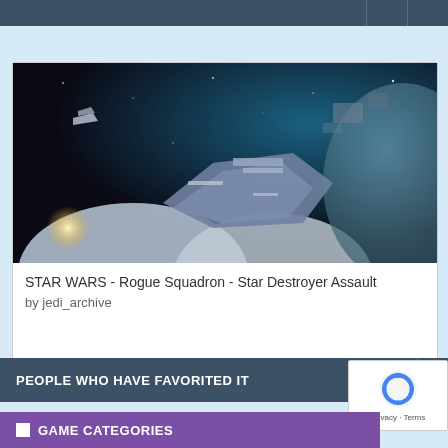[Figure (screenshot): Screenshot of a Star Wars Rogue Squadron game scene showing spaceships in space with a large planet in the background]
STAR WARS - Rogue Squadron - Star Destroyer Assault
by jedi_archive
PEOPLE WHO HAVE FAVORITED IT
[Figure (logo): reCAPTCHA logo with Privacy and Terms text]
GAME CATEGORIES